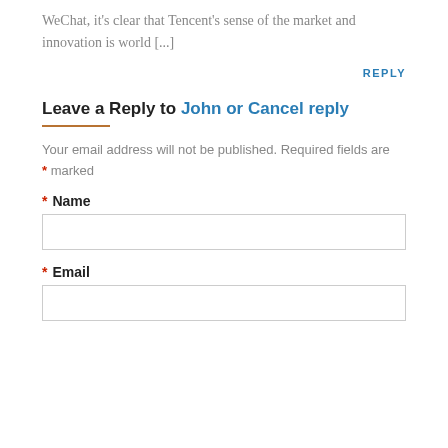WeChat, it's clear that Tencent's sense of the market and innovation is world [...]
REPLY
Leave a Reply to John or Cancel reply
Your email address will not be published. Required fields are * marked
* Name
* Email